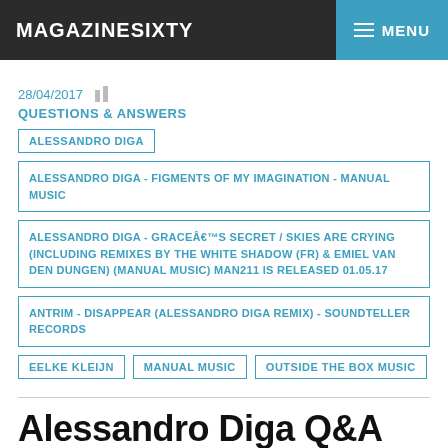MAGAZINESIXTY    MENU
28/04/2017
QUESTIONS & ANSWERS
ALESSANDRO DIGA
ALESSANDRO DIGA - FIGMENTS OF MY IMAGINATION - MANUAL MUSIC
ALESSANDRO DIGA - GRACEÂ€™S SECRET / SKIES ARE CRYING (INCLUDING REMIXES BY THE WHITE SHADOW (FR) & EMIEL VAN DEN DUNGEN) (MANUAL MUSIC) MAN211 IS RELEASED 01.05.17
ANTRIM - DISAPPEAR (ALESSANDRO DIGA REMIX) - SOUNDTELLER RECORDS
EELKE KLEIJN
MANUAL MUSIC
OUTSIDE THE BOX MUSIC
Alessandro Diga Q&A